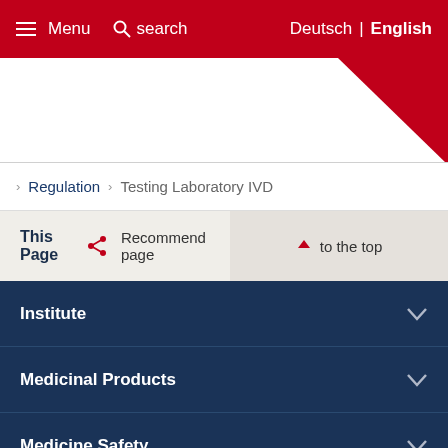Menu  search  Deutsch | English
Regulation > Testing Laboratory IVD
This Page  Recommend page
to the top
Institute
Medicinal Products
Medicine Safety
Regulation